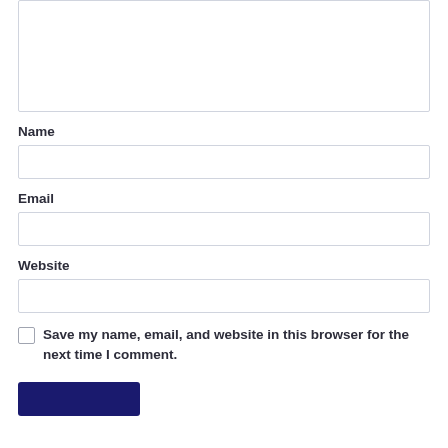[Figure (screenshot): Top portion of a web form comment textarea (partially visible at top of page), with a light border.]
Name
[Figure (screenshot): Empty text input field for Name]
Email
[Figure (screenshot): Empty text input field for Email]
Website
[Figure (screenshot): Empty text input field for Website]
Save my name, email, and website in this browser for the next time I comment.
[Figure (screenshot): Dark navy blue submit/post comment button at bottom left]